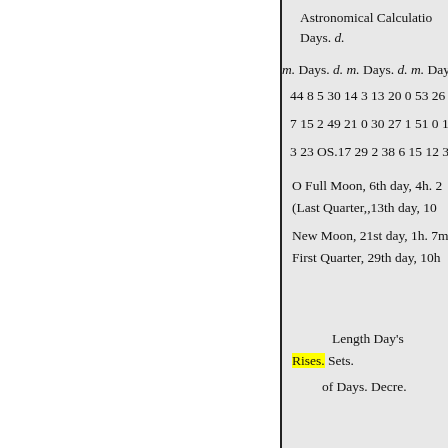Astronomical Calculations Days. d.
m. Days. d. m. Days. d. m. Days.
44 8 5 30 14 3 13 20 0 53 26
7 15 2 49 21 0 30 27 1 51 0 10
3 23 OS.17 29 2 38 6 15 12 3
O Full Moon, 6th day, 4h. 2
(Last Quarter,,13th day, 10
New Moon, 21st day, 1h. 7m
First Quarter, 29th day, 10h
Length Day's
Rises. Sets.
of Days. Decre.